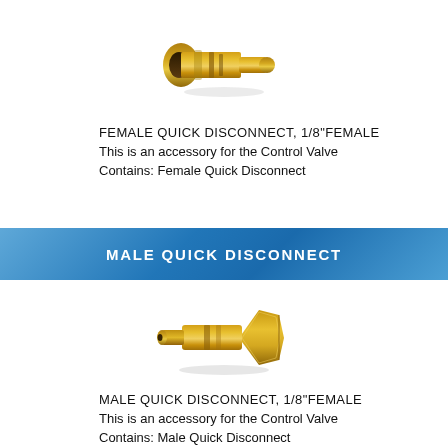[Figure (photo): Gold/brass female quick disconnect fitting, cylindrical shape with flared end, viewed from slight angle]
FEMALE QUICK DISCONNECT, 1/8"FEMALE
This is an accessory for the Control Valve
Contains: Female Quick Disconnect
MALE QUICK DISCONNECT
[Figure (photo): Gold/brass male quick disconnect fitting with hexagonal nut end, viewed from slight angle]
MALE QUICK DISCONNECT, 1/8"FEMALE
This is an accessory for the Control Valve
Contains: Male Quick Disconnect